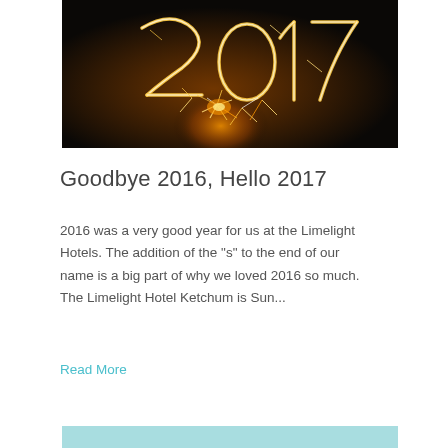[Figure (photo): Sparkler photo showing '2017' written in light against a dark background with bokeh sparks]
Goodbye 2016, Hello 2017
2016 was a very good year for us at the Limelight Hotels. The addition of the "s" to the end of our name is a big part of why we loved 2016 so much. The Limelight Hotel Ketchum is Sun...
Read More